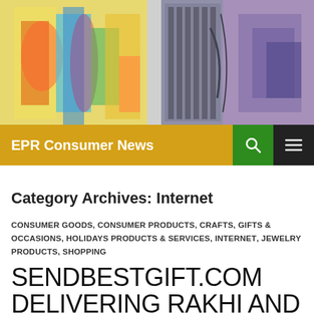[Figure (photo): Collage header image showing colorful fashion and industrial/mechanical imagery]
EPR Consumer News
Category Archives: Internet
CONSUMER GOODS, CONSUMER PRODUCTS, CRAFTS, GIFTS & OCCASIONS, HOLIDAYS PRODUCTS & SERVICES, INTERNET, JEWELRY PRODUCTS, SHOPPING
SENDBESTGIFT.COM DELIVERING RAKHI AND FRIENDSHIP DAY GIFTS DURING LOCK DOWN